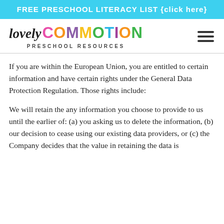FREE PRESCHOOL LITERACY LIST {click here}
[Figure (logo): Lovely Commotion Preschool Resources logo with colorful lettering]
If you are within the European Union, you are entitled to certain information and have certain rights under the General Data Protection Regulation. Those rights include:
We will retain the any information you choose to provide to us until the earlier of: (a) you asking us to delete the information, (b) our decision to cease using our existing data providers, or (c) the Company decides that the value in retaining the data is